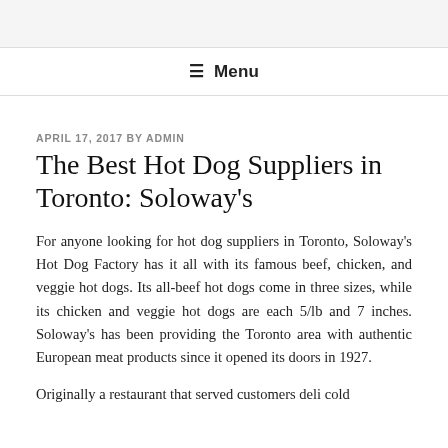≡ Menu
APRIL 17, 2017 BY ADMIN
The Best Hot Dog Suppliers in Toronto: Soloway's
For anyone looking for hot dog suppliers in Toronto, Soloway's Hot Dog Factory has it all with its famous beef, chicken, and veggie hot dogs. Its all-beef hot dogs come in three sizes, while its chicken and veggie hot dogs are each 5/lb and 7 inches. Soloway's has been providing the Toronto area with authentic European meat products since it opened its doors in 1927.
Originally a restaurant that served customers deli cold